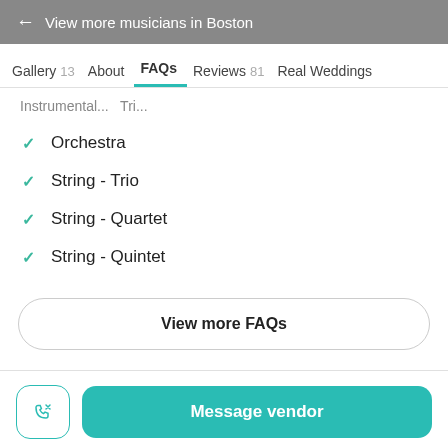← View more musicians in Boston
Gallery 13   About   FAQs   Reviews 81   Real Weddings
Instrumental... Tri...
✓ Orchestra
✓ String - Trio
✓ String - Quartet
✓ String - Quintet
View more FAQs
Message vendor